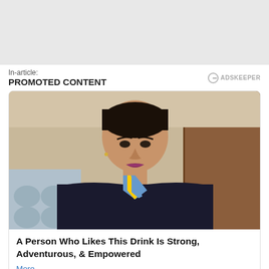In-article:
PROMOTED CONTENT
[Figure (photo): A woman dressed as a flight attendant wearing a dark navy uniform with a blue and yellow striped scarf tied around her neck, photographed inside an aircraft cabin.]
A Person Who Likes This Drink Is Strong, Adventurous, & Empowered
More...